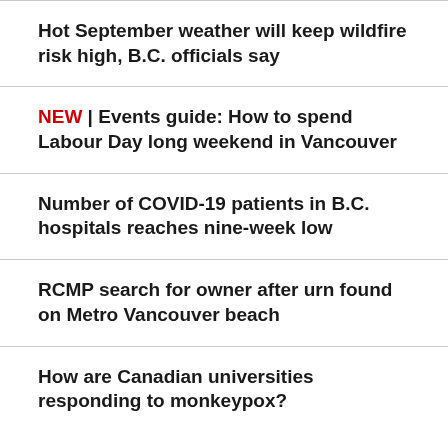Hot September weather will keep wildfire risk high, B.C. officials say
NEW | Events guide: How to spend Labour Day long weekend in Vancouver
Number of COVID-19 patients in B.C. hospitals reaches nine-week low
RCMP search for owner after urn found on Metro Vancouver beach
How are Canadian universities responding to monkeypox?